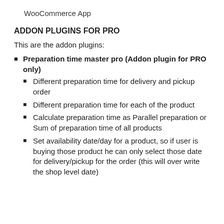WooCommerce App
ADDON PLUGINS FOR PRO
This are the addon plugins:
Preparation time master pro (Addon plugin for PRO only)
Different preparation time for delivery and pickup order
Different preparation time for each of the product
Calculate preparation time as Parallel preparation or Sum of preparation time of all products
Set availability date/day for a product, so if user is buying those product he can only select those date for delivery/pickup for the order (this will over write the shop level date)